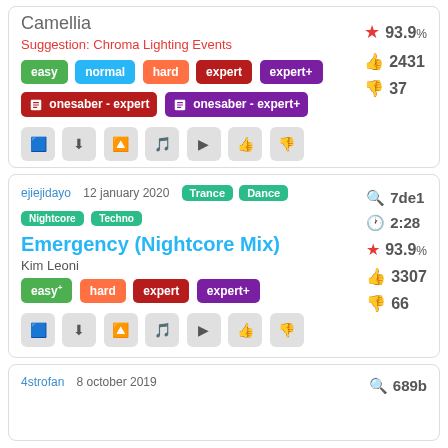Camellia
Suggestion: Chroma Lighting Events
easy | normal | hard | expert | expert+
onesaber - expert | onesaber - expert+
93.9% | 2431 likes | 37 dislikes
ejiejidayo   12 january 2020   Trance Dance Nightcore Techno
Emergency (Nightcore Mix)
Kim Leoni
easy+ | hard | expert | expert+
7de1 | 2:28 | 93.9% | 3307 likes | 66 dislikes
4strofan   8 october 2019
689b